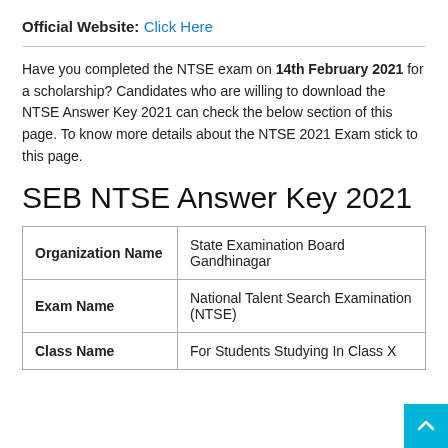Official Website: Click Here
Have you completed the NTSE exam on 14th February 2021 for a scholarship? Candidates who are willing to download the NTSE Answer Key 2021 can check the below section of this page. To know more details about the NTSE 2021 Exam stick to this page.
SEB NTSE Answer Key 2021
|  |  |
| --- | --- |
| Organization Name | State Examination Board Gandhinagar |
| Exam Name | National Talent Search Examination (NTSE) |
| Class Name | For Students Studying In Class X |